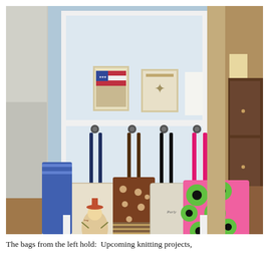[Figure (photo): A white pegboard or shelf unit with four hooks, from which hang four tote bags. The bags from left to right are: a cream canvas bag with a whimsical character illustration, a brown polka-dot bag, a plain cream/beige canvas bag, and a pink and green polka-dot bag. On the upper shelf sit two small decorative framed items and a card. The background shows a room with wood floors and a dresser.]
The bags from the left hold:  Upcoming knitting projects,